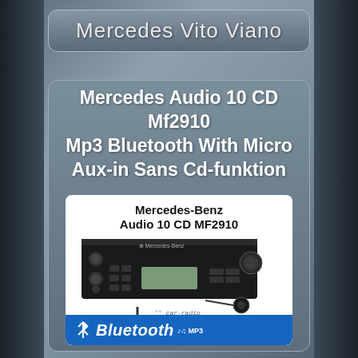Mercedes Vito Viano
Mercedes Audio 10 CD Mf2910 Mp3 Bluetooth With Micro Aux-in Sans Cd-funktion
[Figure (photo): Product image of Mercedes-Benz Audio 10 CD MF2910 car radio unit with Bluetooth, MP3, aux-in cable, earphone dongle, and Bluetooth logo bar at bottom]